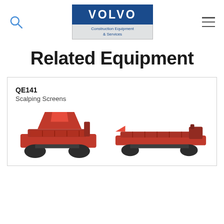Volvo Construction Equipment & Services
Related Equipment
QE141
Scalping Screens
[Figure (photo): Two red scalping screen machines (QE141) shown side by side at the bottom of the card]